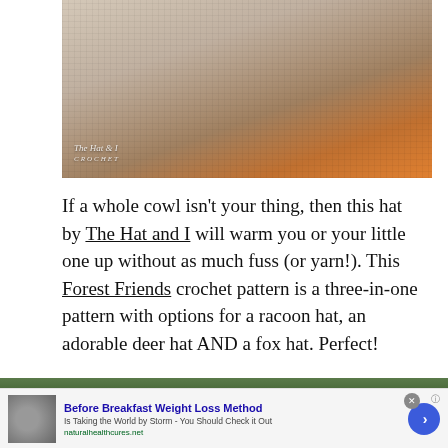[Figure (photo): Three crocheted animal hats on a wooden surface with pine cones - grey raccoon, tan deer, and orange fox designs. Watermark reads 'The Hat & I CROCHET']
If a whole cowl isn't your thing, then this hat by The Hat and I will warm you or your little one up without as much fuss (or yarn!). This Forest Friends crochet pattern is a three-in-one pattern with options for a racoon hat, an adorable deer hat AND a fox hat. Perfect!
[Figure (screenshot): Advertisement: 'Before Breakfast Weight Loss Method - Is Taking the World by Storm - You Should Check it Out' from naturalhealthcures.net with a food image and blue arrow button]